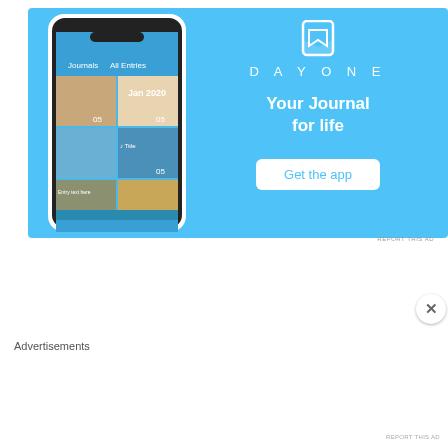[Figure (infographic): DayOne app advertisement with blue background. Shows phone mockup with journal app interface on the left, and on the right: DayOne logo icon (bookmark), brand name 'DAYONE' in spaced letters, tagline 'Your Journal for life' in white bold text, and a white 'Get the app' button.]
REPORT THIS AD
[Figure (screenshot): YouTube video thumbnail banner with dark navy background. Shows circular avatar with Miss Pageant crown logo on left, white bold text 'PASS THE CROWN - Miss Minnesot...' in the center, three vertical dots menu icon on right. Large semi-transparent text 'CONFIDENTLY BEAUTIFUL' visible in background.]
Advertisements
[Figure (infographic): Victoria's Secret advertisement banner. Pink gradient background with female model on left, VS logo in center with cursive text, 'SHOP THE COLLECTION' text, and white 'SHOP NOW' button on right.]